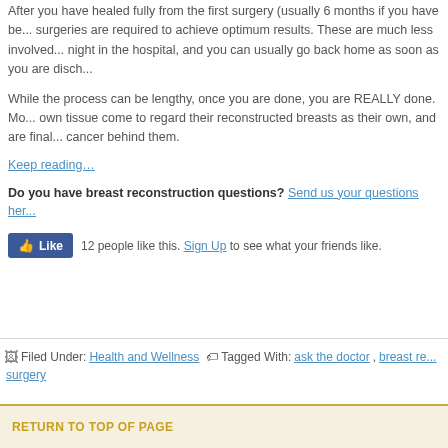After you have healed fully from the first surgery (usually 6 months if you have be... surgeries are required to achieve optimum results. These are much less involved... night in the hospital, and you can usually go back home as soon as you are disch...
While the process can be lengthy, once you are done, you are REALLY done. Mo... own tissue come to regard their reconstructed breasts as their own, and are final... cancer behind them.
Keep reading…
Do you have breast reconstruction questions? Send us your questions her...
12 people like this. Sign Up to see what your friends like.
Filed Under: Health and Wellness Tagged With: ask the doctor, breast re... surgery